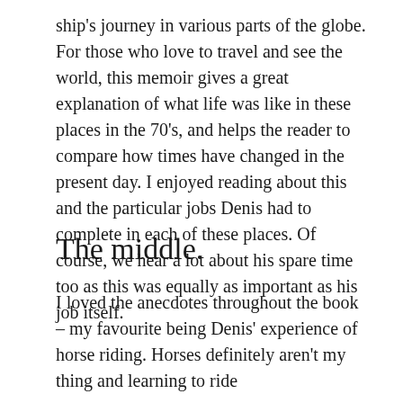ship's journey in various parts of the globe. For those who love to travel and see the world, this memoir gives a great explanation of what life was like in these places in the 70's, and helps the reader to compare how times have changed in the present day. I enjoyed reading about this and the particular jobs Denis had to complete in each of these places. Of course, we hear a lot about his spare time too as this was equally as important as his job itself.
The middle.
I loved the anecdotes throughout the book – my favourite being Denis' experience of horse riding. Horses definitely aren't my thing and learning to ride